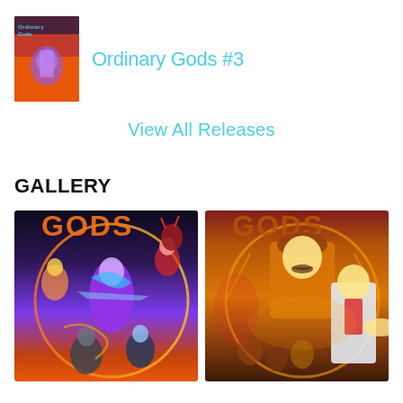[Figure (illustration): Comic book cover thumbnail for Ordinary Gods #3]
Ordinary Gods #3
View All Releases
GALLERY
[Figure (illustration): Ordinary Gods comic book cover art showing multiple characters with blue energy effects, dark purple and orange tones with GODS text at top]
[Figure (illustration): Ordinary Gods comic book cover art showing characters with warm golden yellow tones, large mustachioed figure in hat with younger character, GODS text at top]